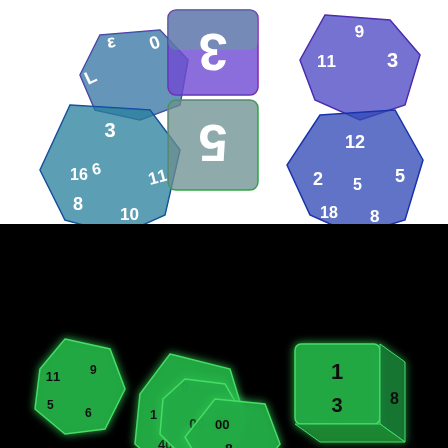[Figure (photo): Product photo of translucent multi-colored (purple, blue, green) polyhedral dice set stacked on white background. Visible numbers include: 0, 3, 16, 8, 10, 11, 6, 3, 5, 11, 3, 12, 2, 5, 18, 8, 1, 5, 6, 9.]
[Figure (photo): Dark background photo of glowing green polyhedral dice set showing numbers including 11, 9, 5, 6, 1, 3, 8, 09, 80, 40, 3, 8 on various dice faces.]